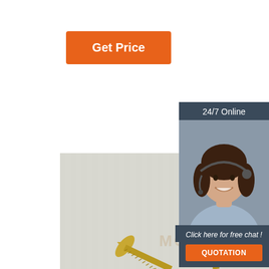[Figure (other): Orange 'Get Price' button]
[Figure (photo): Three golden/brass flat-head wood screws of varying lengths arranged fan-like on a light gray surface, with watermark text 'MONJUN' overlaid]
[Figure (infographic): Sidebar showing '24/7 Online' header, photo of a smiling woman with headset, italic text 'Click here for free chat !', and orange 'QUOTATION' button]